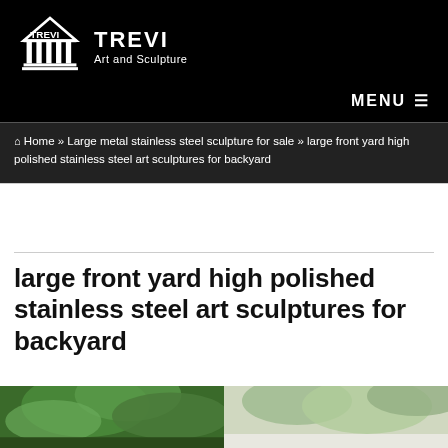[Figure (logo): Trevi Art and Sculpture logo with Greek temple/columns icon and text 'TREVI Art and Sculpture' on black background]
MENU ☰
🏠 Home » Large metal stainless steel sculpture for sale » large front yard high polished stainless steel art sculptures for backyard
large front yard high polished stainless steel art sculptures for backyard
[Figure (photo): Partial view of stainless steel art sculptures outdoors with greenery/trees in background]